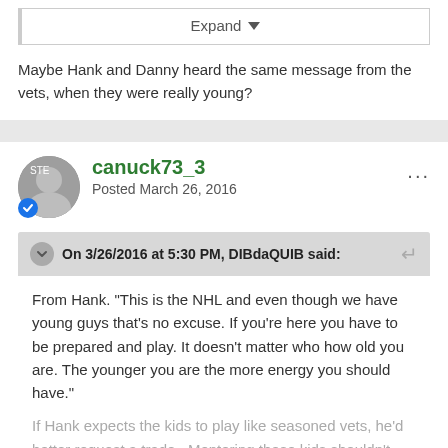Expand
Maybe Hank and Danny heard the same message from the vets, when they were really young?
canuck73_3
Posted March 26, 2016
On 3/26/2016 at 5:30 PM, DIBdaQUIB said:
From Hank. "This is the NHL and even though we have young guys that's no excuse. If you're here you have to be prepared and play. It doesn't matter who how old you are. The younger you are the more energy you should have."
If Hank expects the kids to play like seasoned vets, he'd better request a trade.  Mentoring these kids shouldn't mean calling
Expand